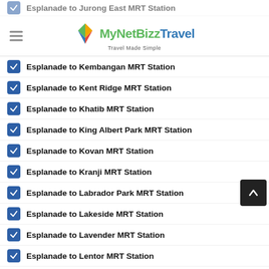MyNetBizzTravel — Travel Made Simple
Esplanade to Kembangan MRT Station
Esplanade to Kent Ridge MRT Station
Esplanade to Khatib MRT Station
Esplanade to King Albert Park MRT Station
Esplanade to Kovan MRT Station
Esplanade to Kranji MRT Station
Esplanade to Labrador Park MRT Station
Esplanade to Lakeside MRT Station
Esplanade to Lavender MRT Station
Esplanade to Lentor MRT Station
Esplanade to Little India MRT Station